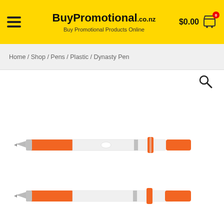BuyPromotional.co.nz — Buy Promotional Products Online — $0.00 cart
Home / Shop / Pens / Plastic / Dynasty Pen
[Figure (photo): Two orange and white Dynasty Pens shown in side view — one full pen above, one partial pen below]
[Figure (other): Magnifying glass search icon]